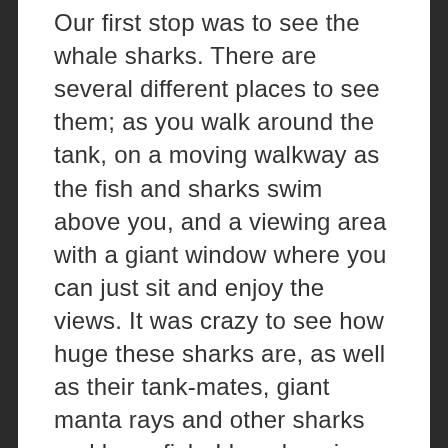Our first stop was to see the whale sharks. There are several different places to see them; as you walk around the tank, on a moving walkway as the fish and sharks swim above you, and a viewing area with a giant window where you can just sit and enjoy the views. It was crazy to see how huge these sharks are, as well as their tank-mates, giant manta rays and other sharks and huge fish. I loved seeing my older kids taking photos on their phones and with their cameras and sharing them on social media, which is of course what the adults were doing too! We then saw the rest of the exhibits in that area and moved on to the beluga whales and penguins. Little Gio loved crawling through these cool tunnel-like crawl spaces where you could view the animals in their habitat from behind glass. We then stopped for lunch and on busy days like that was, the aquarium's ballroom is open for seating on the floor above the